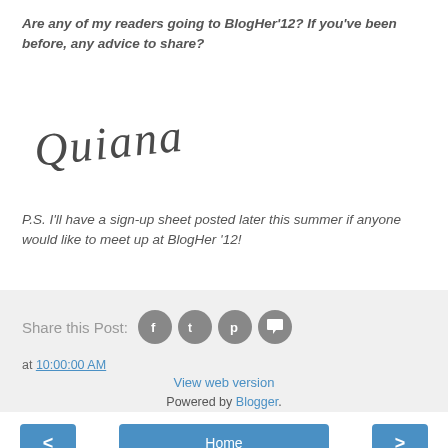Are any of my readers going to BlogHer'12? If you've been before, any advice to share?
[Figure (illustration): Cursive script signature reading 'Quiana']
P.S. I'll have a sign-up sheet posted later this summer if anyone would like to meet up at BlogHer '12!
Share this Post: [Facebook icon] [Twitter icon] [Pinterest icon] [Comment icon]
at 10:00:00 AM
< Home >
View web version
Powered by Blogger.